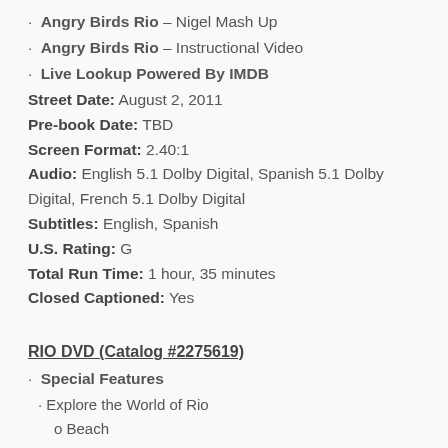Angry Birds Rio – Nigel Mash Up
Angry Birds Rio – Instructional Video
Live Lookup Powered By IMDB
Street Date: August 2, 2011
Pre-book Date: TBD
Screen Format: 2.40:1
Audio: English 5.1 Dolby Digital, Spanish 5.1 Dolby Digital, French 5.1 Dolby Digital
Subtitles: English, Spanish
U.S. Rating: G
Total Run Time: 1 hour, 35 minutes
Closed Captioned: Yes
RIO DVD (Catalog #2275619)
Special Features
Explore the World of Rio
o Beach